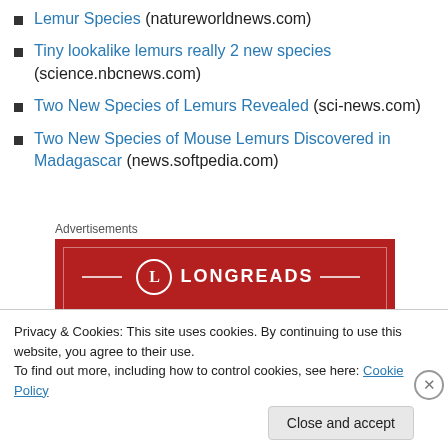Lemur Species (natureworldnews.com)
Tiny lookalike lemurs really 2 new species (science.nbcnews.com)
Two New Species of Lemurs Revealed (sci-news.com)
Two New Species of Mouse Lemurs Discovered in Madagascar (news.softpedia.com)
[Figure (other): Longreads advertisement banner with red background showing logo and tagline 'The best stories on the web, curated']
Privacy & Cookies: This site uses cookies. By continuing to use this website, you agree to their use.
To find out more, including how to control cookies, see here: Cookie Policy